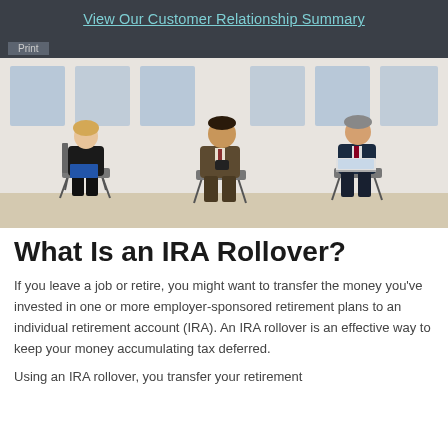View Our Customer Relationship Summary
[Figure (photo): Three professionals (a woman and two men) sitting in chairs against a white wall, as if waiting for interviews. The woman on the left holds a folder, the man in the center holds a phone, and the man on the right has a laptop.]
What Is an IRA Rollover?
If you leave a job or retire, you might want to transfer the money you've invested in one or more employer-sponsored retirement plans to an individual retirement account (IRA). An IRA rollover is an effective way to keep your money accumulating tax deferred.
Using an IRA rollover, you transfer your retirement